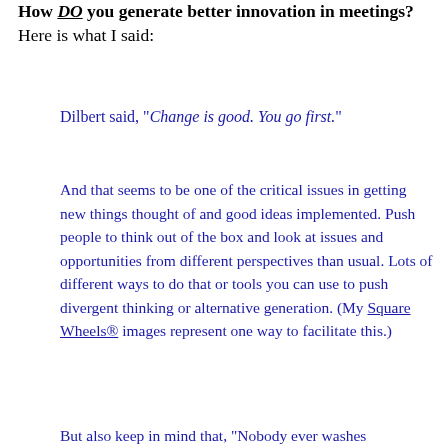How DO you generate better innovation in meetings? Here is what I said:
Dilbert said, "Change is good. You go first."
And that seems to be one of the critical issues in getting new things thought of and good ideas implemented. Push people to think out of the box and look at issues and opportunities from different perspectives than usual. Lots of different ways to do that or tools you can use to push divergent thinking or alternative generation. (My Square Wheels® images represent one way to facilitate this.)
But also keep in mind that, "Nobody ever washes